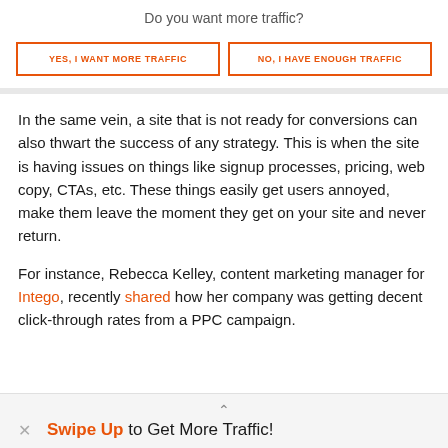Do you want more traffic?
[Figure (infographic): Two CTA buttons side by side: 'YES, I WANT MORE TRAFFIC' and 'NO, I HAVE ENOUGH TRAFFIC', both with orange border and orange text on white background.]
In the same vein, a site that is not ready for conversions can also thwart the success of any strategy. This is when the site is having issues on things like signup processes, pricing, web copy, CTAs, etc. These things easily get users annoyed, make them leave the moment they get on your site and never return.
For instance, Rebecca Kelley, content marketing manager for Intego, recently shared how her company was getting decent click-through rates from a PPC campaign.
Swipe Up to Get More Traffic!